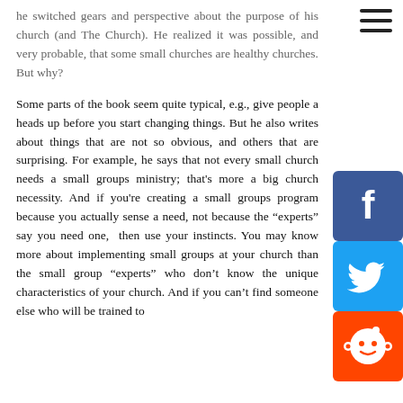he switched gears and perspective about the purpose of his church (and The Church). He realized it was possible, and very probable, that some small churches are healthy churches. But why?
Some parts of the book seem quite typical, e.g., give people a heads up before you start changing things. But he also writes about things that are not so obvious, and others that are surprising. For example, he says that not every small church needs a small groups ministry; that's more a big church necessity. And if you're creating a small groups program because you actually sense a need, not because the “experts” say you need one, then use your instincts. You may know more about implementing small groups at your church than the small group “experts” who don't know the unique characteristics of your church. And if you can't find someone else who will be trained to